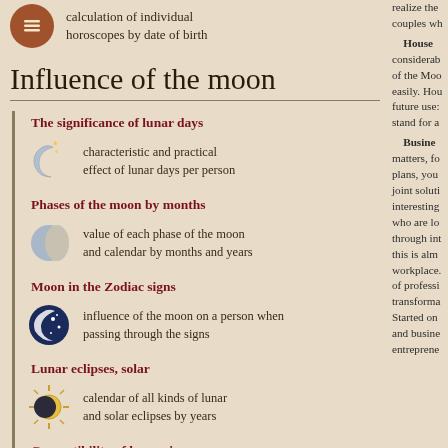calculation of individual horoscopes by date of birth
Influence of the moon
The significance of lunar days
characteristic and practical effect of lunar days per person
Phases of the moon by months
value of each phase of the moon and calendar by months and years
Moon in the Zodiac signs
influence of the moon on a person when passing through the signs
Lunar eclipses, solar
calendar of all kinds of lunar and solar eclipses by years
Compatibility of lunar signs
compatibility of partners
realize the couples wh House considerably of the Moo easily. Ho future use stand for a Business matters fo plans, you joint soluti interesting who are lo through int this is alm workplace of professi transforma Started on and busine entreprene